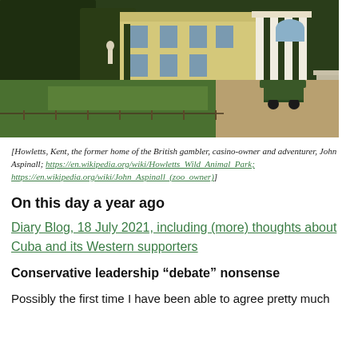[Figure (photo): Exterior view of Howletts, Kent — a large neoclassical house with white columns, cream-coloured walls, green trimmed hedges, manicured lawn, and a golf cart on a gravel path.]
[Howletts, Kent, the former home of the British gambler, casino-owner and adventurer, John Aspinall; https://en.wikipedia.org/wiki/Howletts_Wild_Animal_Park; https://en.wikipedia.org/wiki/John_Aspinall_(zoo_owner)]
On this day a year ago
Diary Blog, 18 July 2021, including (more) thoughts about Cuba and its Western supporters
Conservative leadership “debate” nonsense
Possibly the first time I have been able to agree pretty much